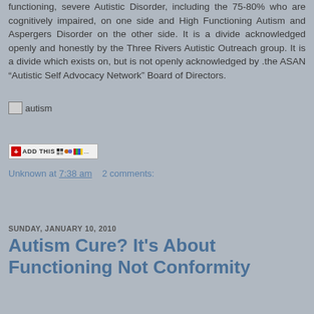functioning, severe Autistic Disorder, including the 75-80% who are cognitively impaired, on one side and High Functioning Autism and Aspergers Disorder on the other side. It is a divide acknowledged openly and honestly by the Three Rivers Autistic Outreach group. It is a divide which exists on, but is not openly acknowledged by .the ASAN "Autistic Self Advocacy Network" Board of Directors.
[Figure (photo): Small image placeholder labeled 'autism']
[Figure (other): AddThis social sharing button bar]
Unknown at 7:38 am    2 comments:
Share
SUNDAY, JANUARY 10, 2010
Autism Cure? It's About Functioning Not Conformity